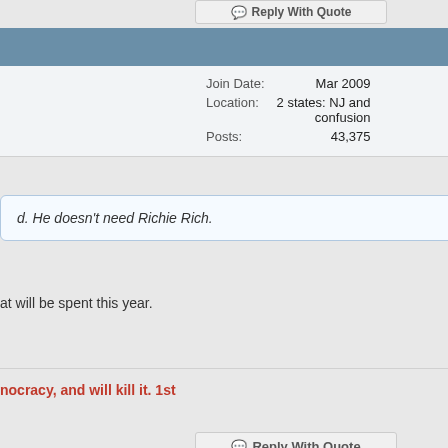Reply With Quote
#20
| Join Date: | Mar 2009 |
| Location: | 2 states: NJ and confusion |
| Posts: | 43,375 |
d. He doesn't need Richie Rich.
at will be spent this year.
nocracy, and will kill it. 1st
Reply With Quote
#21
Join Date: